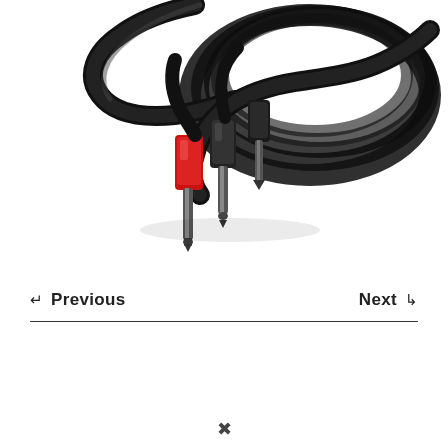[Figure (photo): Coiled black audio cables with red and black 1/4-inch (6.35mm) TS connector plugs at the ends, shown against a white background. The cables are wound into a loose coil with the connectors visible at the front.]
← Previous   Next ↳